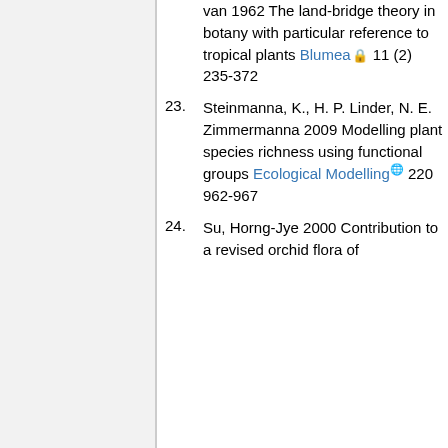van 1962 The land-bridge theory in botany with particular reference to tropical plants Blumea 11 (2) 235-372
23. Steinmanna, K., H. P. Linder, N. E. Zimmermanna 2009 Modelling plant species richness using functional groups Ecological Modelling 220 962-967
24. Su, Horng-Jye 2000 Contribution to a revised orchid flora of